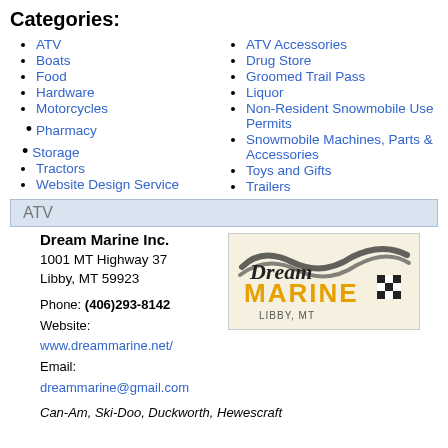Categories:
ATV
Boats
Food
Hardware
Motorcycles
Pharmacy
Storage
Tractors
Website Design Service
ATV Accessories
Drug Store
Groomed Trail Pass
Liquor
Non-Resident Snowmobile Use Permits
Snowmobile Machines, Parts & Accessories
Toys and Gifts
Trailers
ATV
Dream Marine Inc.
1001 MT Highway 37
Libby, MT 59923

Phone: (406)293-8142
Website: www.dreammarine.net/
Email: dreammarine@gmail.com
[Figure (logo): Dream Marine logo with stylized text showing 'Dream MARINE' in script and bold letters, with a checkered flag, and 'LIBBY, MT' below, on a cream/tan background.]
Can-Am, Ski-Doo, Duckworth, Hewescraft